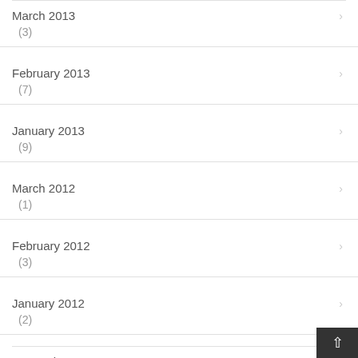March 2013 (3)
February 2013 (7)
January 2013 (9)
March 2012 (1)
February 2012 (3)
January 2012 (2)
September 2011